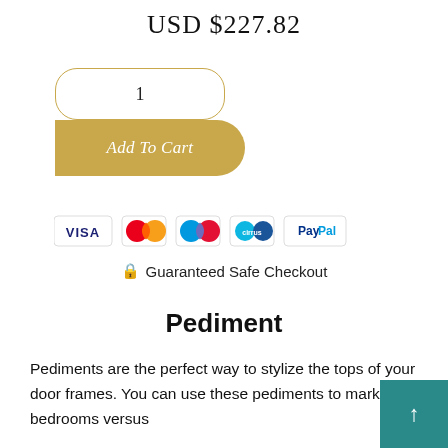USD $227.82
1
Add To Cart
[Figure (infographic): Payment icons: VISA, Mastercard, Maestro, Cirrus, PayPal]
🔒 Guaranteed Safe Checkout
Pediment
Pediments are the perfect way to stylize the tops of your door frames. You can use these pediments to mark bedrooms versus